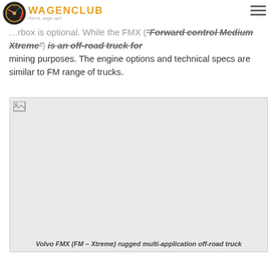WAGENCLUB Rev's, wigs up!!
...rbox is optional. While the FMX ("Forward control Medium Xtreme") is an off-road truck for mining purposes. The engine options and technical specs are similar to FM range of trucks.
[Figure (photo): Volvo FMX off-road truck image (broken/missing image placeholder)]
Volvo FMX (FM – Xtreme) rugged multi-application off-road truck